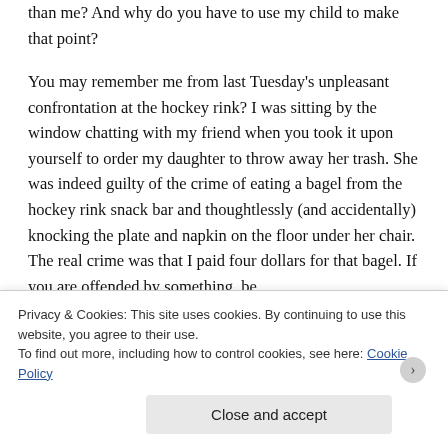than me? And why do you have to use my child to make that point?

You may remember me from last Tuesday's unpleasant confrontation at the hockey rink? I was sitting by the window chatting with my friend when you took it upon yourself to order my daughter to throw away her trash. She was indeed guilty of the crime of eating a bagel from the hockey rink snack bar and thoughtlessly (and accidentally) knocking the plate and napkin on the floor under her chair. The real crime was that I paid four dollars for that bagel. If you are offended by something, be
Privacy & Cookies: This site uses cookies. By continuing to use this website, you agree to their use.
To find out more, including how to control cookies, see here: Cookie Policy
Close and accept